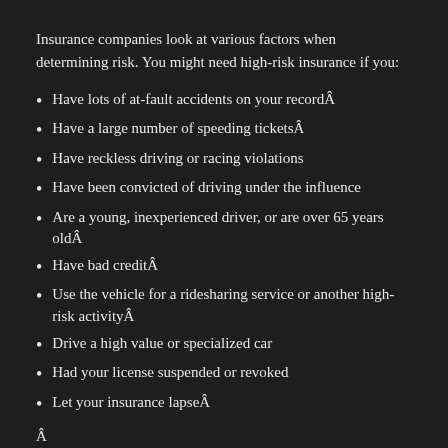Insurance companies look at various factors when determining risk. You might need high-risk insurance if you:
Have lots of at-fault accidents on your recordÂ
Have a large number of speeding ticketsÂ
Have reckless driving or racing violations
Have been convicted of driving under the influence
Are a young, inexperienced driver, or are over 65 years oldÂ
Have bad creditÂ
Use the vehicle for a ridesharing service or another high-risk activityÂ
Drive a high value or specialized car
Had your license suspended or revoked
Let your insurance lapseÂ
Â